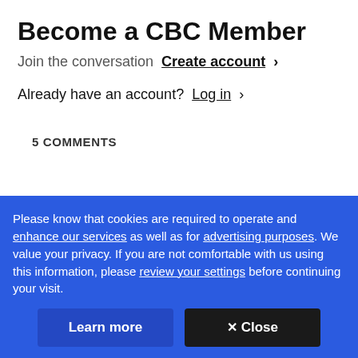Become a CBC Member
Join the conversation  Create account ›
Already have an account?  Log in ›
5 COMMENTS
Please know that cookies are required to operate and enhance our services as well as for advertising purposes. We value your privacy. If you are not comfortable with us using this information, please review your settings before continuing your visit.
Learn more
✕ Close